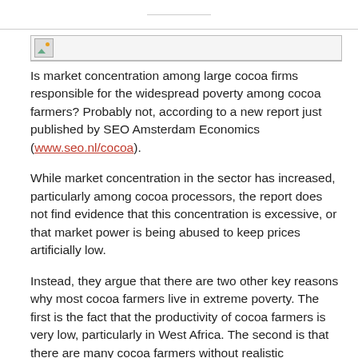[Figure (other): Broken/placeholder image icon with a horizontal bar container, showing a small landscape thumbnail placeholder]
Is market concentration among large cocoa firms responsible for the widespread poverty among cocoa farmers? Probably not, according to a new report just published by SEO Amsterdam Economics (www.seo.nl/cocoa).
While market concentration in the sector has increased, particularly among cocoa processors, the report does not find evidence that this concentration is excessive, or that market power is being abused to keep prices artificially low.
Instead, they argue that there are two other key reasons why most cocoa farmers live in extreme poverty. The first is the fact that the productivity of cocoa farmers is very low, particularly in West Africa. The second is that there are many cocoa farmers without realistic alternative income options. As a result, these farmers continue to supply cocoa even at very low prices.
Training programmes aimed at raising productivity can help